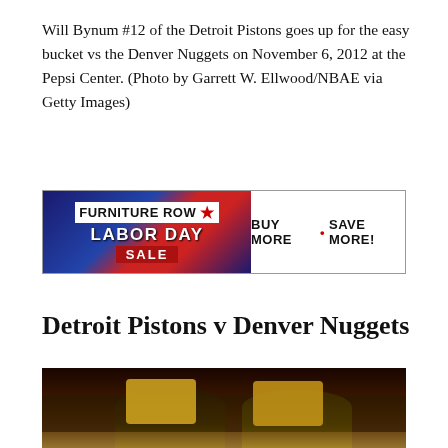Will Bynum #12 of the Detroit Pistons goes up for the easy bucket vs the Denver Nuggets on November 6, 2012 at the Pepsi Center. (Photo by Garrett W. Ellwood/NBAE via Getty Images)
[Figure (other): Furniture Row Labor Day Sale advertisement banner]
Detroit Pistons v Denver Nuggets
[Figure (photo): Basketball game photo showing Denver Nuggets players in yellow jerseys at what appears to be the Pepsi Center arena]